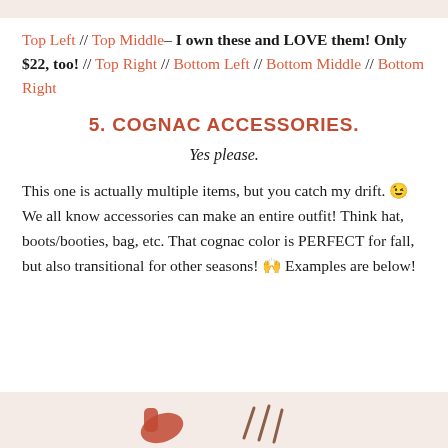Top Left // Top Middle– I own these and LOVE them! Only $22, too! // Top Right // Bottom Left // Bottom Middle // Bottom Right
5. COGNAC ACCESSORIES.
Yes please.
This one is actually multiple items, but you catch my drift. 😉 We all know accessories can make an entire outfit! Think hat, boots/booties, bag, etc. That cognac color is PERFECT for fall, but also transitional for other seasons! 🙌 Examples are below!